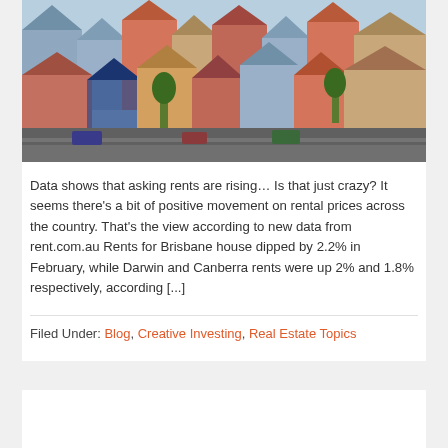[Figure (photo): Aerial view of densely packed suburban houses with coloured rooftops in an Australian neighbourhood]
Data shows that asking rents are rising… Is that just crazy? It seems there's a bit of positive movement on rental prices across the country. That's the view according to new data from rent.com.au Rents for Brisbane house dipped by 2.2% in February, while Darwin and Canberra rents were up 2% and 1.8% respectively, according [...]
Filed Under: Blog, Creative Investing, Real Estate Topics